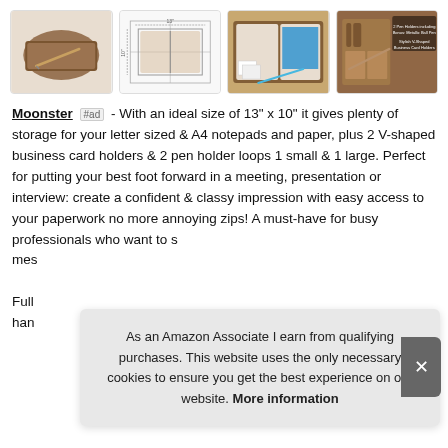[Figure (photo): Four product thumbnail images of a brown leather portfolio/folder organizer: 1) closed portfolio with pen, 2) technical diagram/blueprint of portfolio, 3) open portfolio showing contents including blue notepad and cards, 4) close-up of interior showing pen holders and business card pockets]
Moonster #ad - With an ideal size of 13" x 10" it gives plenty of storage for your letter sized & A4 notepads and paper, plus 2 V-shaped business card holders & 2 pen holder loops 1 small & 1 large. Perfect for putting your best foot forward in a meeting, presentation or interview: create a confident & classy impression with easy access to your paperwork no more annoying zips! A must-have for busy professionals who want to s... mes... Full han...
As an Amazon Associate I earn from qualifying purchases. This website uses the only necessary cookies to ensure you get the best experience on our website. More information